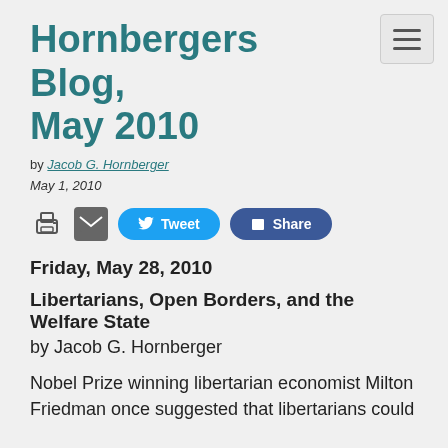Hornbergers Blog, May 2010
by Jacob G. Hornberger
May 1, 2010
[Figure (other): Social sharing bar with print icon, email icon, Tweet button, and Share button]
Friday, May 28, 2010
Libertarians, Open Borders, and the Welfare State
by Jacob G. Hornberger
Nobel Prize winning libertarian economist Milton Friedman once suggested that libertarians could